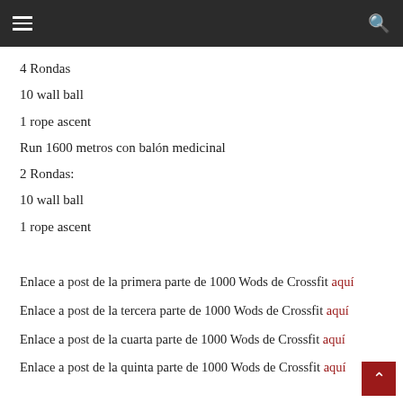≡  🔍
4 Rondas
10 wall ball
1 rope ascent
Run 1600 metros con balón medicinal
2 Rondas:
10 wall ball
1 rope ascent
Enlace a post de la primera parte de 1000 Wods de Crossfit aquí
Enlace a post de la tercera parte de 1000 Wods de Crossfit aquí
Enlace a post de la cuarta parte de 1000 Wods de Crossfit aquí
Enlace a post de la quinta parte de 1000 Wods de Crossfit aquí